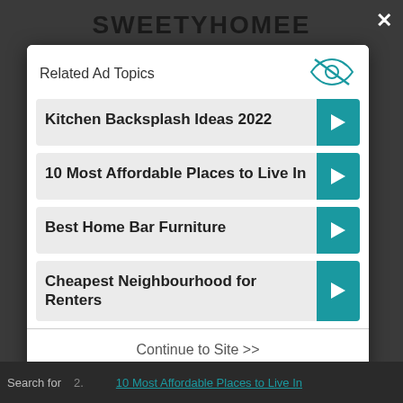SWEETYHOMEE
Related Ad Topics
Kitchen Backsplash Ideas 2022
10 Most Affordable Places to Live In
Best Home Bar Furniture
Cheapest Neighbourhood for Renters
Continue to Site >>
Search for 2. 10 Most Affordable Places to Live In